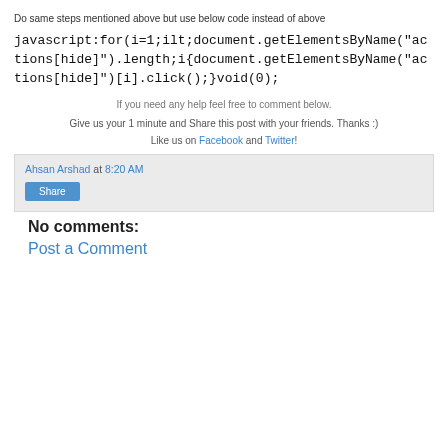Do same steps mentioned above but use below code instead of above
javascript:for(i=1;ilt;document.getElementsByName("actions[hide]").length;i{document.getElementsByName("actions[hide]")[i].click();}void(0);
If you need any help feel free to comment below.
Give us your 1 minute and Share this post with your friends. Thanks :)
Like us on Facebook and Twitter!
Ahsan Arshad at 8:20 AM
Share
No comments:
Post a Comment